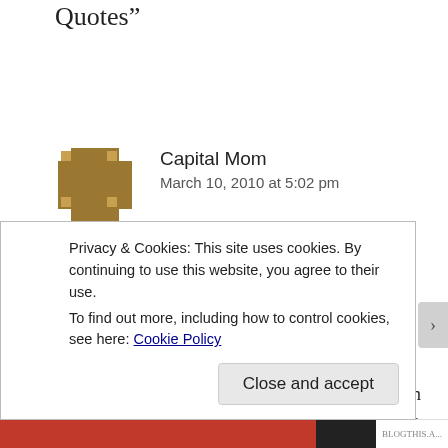Quotes”
Capital Mom
March 10, 2010 at 5:02 pm
Hi, I came over from your comment today on Dani’s blog.
Just wanted to add a comment about BlogHer. I am going this year for the first time. A bit nervous, not sure what to expect but still excited. I don’t have a blog that makes money/sells products, which I know will be well represented at
Privacy & Cookies: This site uses cookies. By continuing to use this website, you agree to their use.
To find out more, including how to control cookies, see here: Cookie Policy
Close and accept